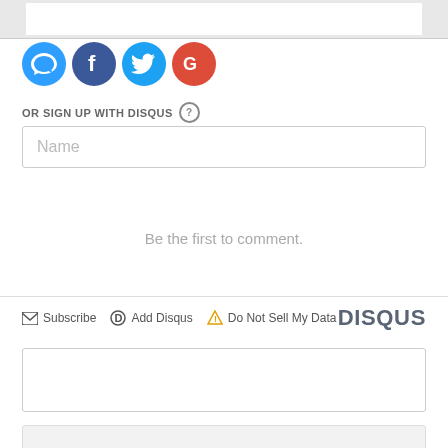[Figure (screenshot): Social login icons: Disqus (blue), Facebook (dark blue), Twitter (light blue), Google (red)]
OR SIGN UP WITH DISQUS ?
Name
Be the first to comment.
Subscribe  Add Disqus  Do Not Sell My Data
DISQUS
NEW RELEASE